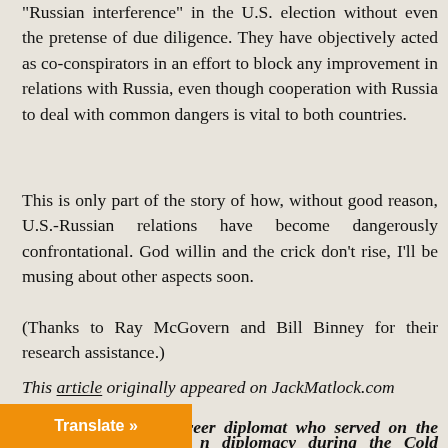"Russian interference" in the U.S. election without even the pretense of due diligence. They have objectively acted as co-conspirators in an effort to block any improvement in relations with Russia, even though cooperation with Russia to deal with common dangers is vital to both countries.
This is only part of the story of how, without good reason, U.S.-Russian relations have become dangerously confrontational. God willin and the crick don't rise, I'll be musing about other aspects soon.
(Thanks to Ray McGovern and Bill Binney for their research assistance.)
This article originally appeared on JackMatlock.com
Jack Matlock is a career diplomat who served on the front lines of diplomacy during the Cold War and was